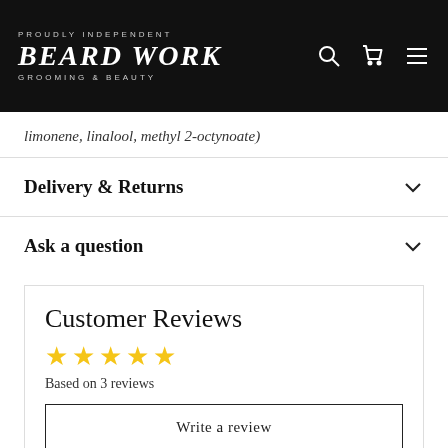PROUDLY INDEPENDENT BEARD WORK GROOMING & BEAUTY
limonene, linalool, methyl 2-octynoate)
Delivery & Returns
Ask a question
Customer Reviews
Based on 3 reviews
Write a review